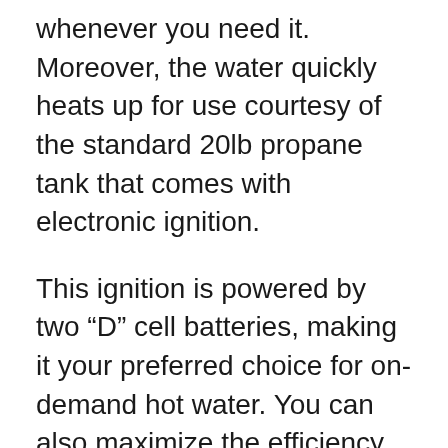whenever you need it. Moreover, the water quickly heats up for use courtesy of the standard 20lb propane tank that comes with electronic ignition.
This ignition is powered by two “D” cell batteries, making it your preferred choice for on-demand hot water. You can also maximize the efficiency of this device by pairing it with the Eccoflo 12v water pump to enjoy hot water in the remotest locations.
The product will deliver your hot water at an incredible rate of 1.5 gallons per minute with a 20 PSI water pressure. You can also adjust the water temperature to suit your needs, providing 50F to 140F. The water and gas